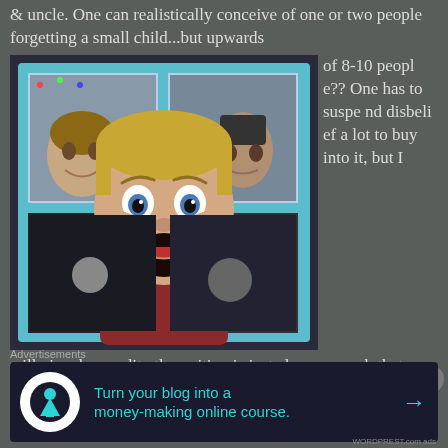& uncle. One can realistically conceive of one or two people forgetting a small child...but upwards of 8-10 people?? One has to suspend disbelief a lot to buy into it, but I will give due credit...the writing is just clever enough that we do buy it. Kevin is doing just
[Figure (photo): Movie still from Home Alone showing a young blonde boy with hands on cheeks making a shocked/scared expression (Macaulay Culkin), with two villains peering through a window frame behind him]
Advertisements
[Figure (infographic): Advertisement banner with dark navy background showing a person icon and text: Turn your blog into a money-making online course. with an arrow.]